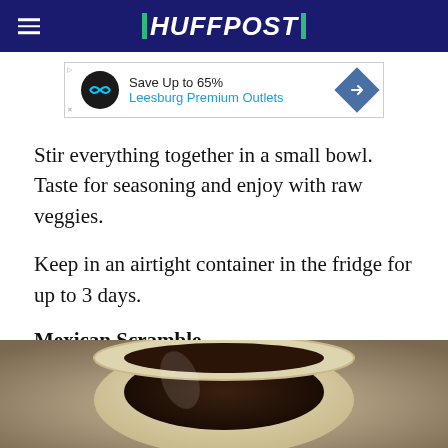HUFFPOST
[Figure (other): Advertisement banner: Save Up to 65% Leesburg Premium Outlets]
Stir everything together in a small bowl. Taste for seasoning and enjoy with raw veggies.
Keep in an airtight container in the fridge for up to 3 days.
Mexican Scramble
[Figure (photo): Photo of a coffee cup viewed from above, showing dark coffee inside a light beige/cream colored mug]